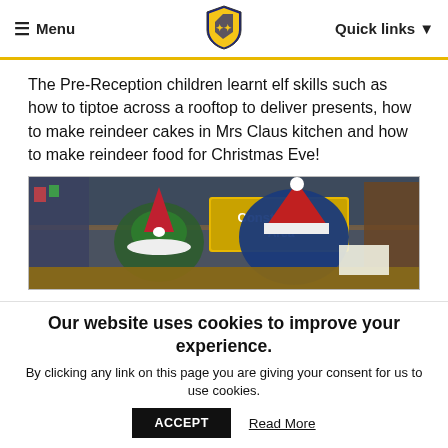≡ Menu | [School Logo] | Quick links ▼
The Pre-Reception children learnt elf skills such as how to tiptoe across a rooftop to deliver presents, how to make reindeer cakes in Mrs Claus kitchen and how to make reindeer food for Christmas Eve!
[Figure (photo): Two children wearing elf and Santa hats at a Construction Area table in a classroom]
Our website uses cookies to improve your experience.
By clicking any link on this page you are giving your consent for us to use cookies.